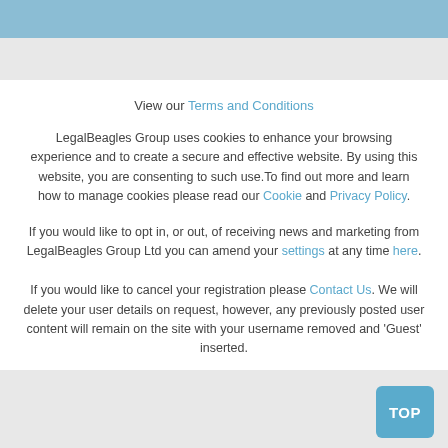View our Terms and Conditions
LegalBeagles Group uses cookies to enhance your browsing experience and to create a secure and effective website. By using this website, you are consenting to such use.To find out more and learn how to manage cookies please read our Cookie and Privacy Policy.
If you would like to opt in, or out, of receiving news and marketing from LegalBeagles Group Ltd you can amend your settings at any time here.
If you would like to cancel your registration please Contact Us. We will delete your user details on request, however, any previously posted user content will remain on the site with your username removed and 'Guest' inserted.
TOP